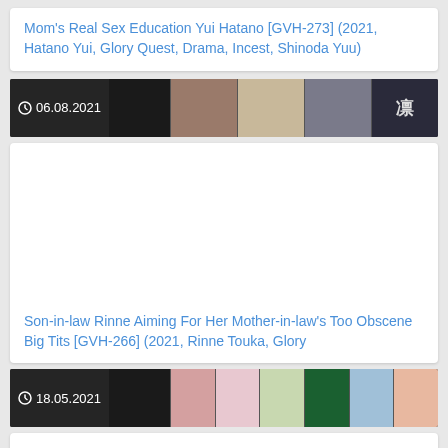Mom's Real Sex Education Yui Hatano [GVH-273] (2021, Hatano Yui, Glory Quest, Drama, Incest, Shinoda Yuu)
[Figure (screenshot): Thumbnail strip with date 06.08.2021 and multiple video preview thumbnails including Japanese text]
Son-in-law Rinne Aiming For Her Mother-in-law's Too Obscene Big Tits [GVH-266] (2021, Rinne Touka, Glory
[Figure (screenshot): Thumbnail strip with date 18.05.2021 and multiple video preview thumbnails]